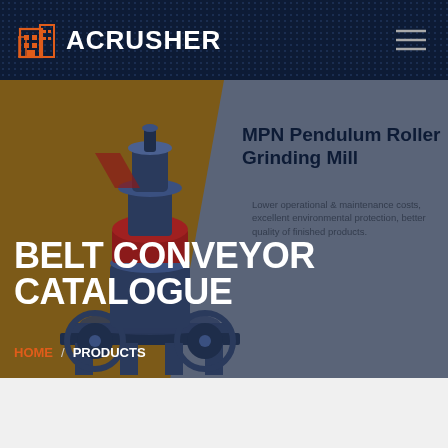ACRUSHER
BELT CONVEYOR CATALOGUE
MPN Pendulum Roller Grinding Mill
Lower operational & maintenance costs, excellent environmental protection, better quality of finished products.
HOME / PRODUCTS
[Figure (illustration): Industrial grinding mill / roller mill machine rendered in blue and red tones on brown background]